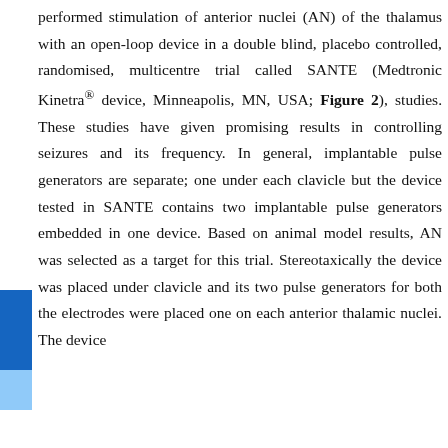performed stimulation of anterior nuclei (AN) of the thalamus with an open-loop device in a double blind, placebo controlled, randomised, multicentre trial called SANTE (Medtronic Kinetra® device, Minneapolis, MN, USA; Figure 2), studies. These studies have given promising results in controlling seizures and its frequency. In general, implantable pulse generators are separate; one under each clavicle but the device tested in SANTE contains two implantable pulse generators embedded in one device. Based on animal model results, AN was selected as a target for this trial. Stereotaxically the device was placed under clavicle and its two pulse generators for both the electrodes were placed one on each anterior thalamic nuclei. The device